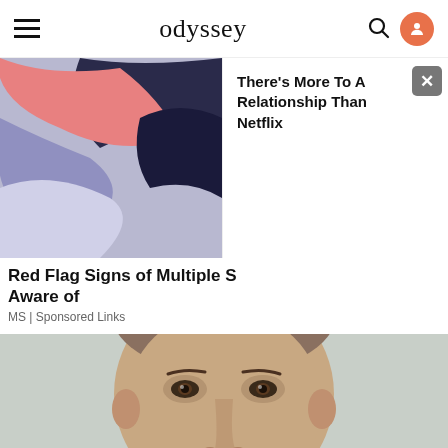odyssey
[Figure (illustration): Abstract colorful illustration with pink, lavender and dark blue flowing shapes suggesting fabric or figures]
There's More To A Relationship Than Netflix
Red Flag Signs of Multiple S... Aware of
MS | Sponsored Links
[Figure (photo): Close-up portrait of a bald or close-cropped man with dark eyes and facial stubble, neutral expression, against a light grey background]